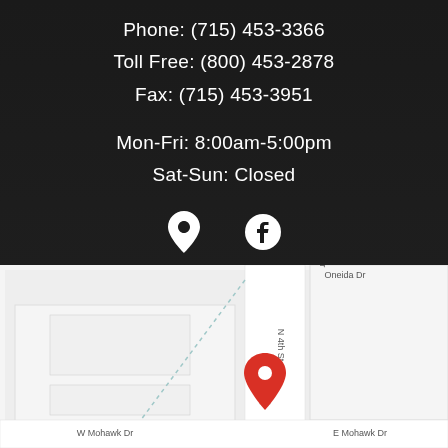Phone: (715) 453-3366
Toll Free: (800) 453-2878
Fax: (715) 453-3951
Mon-Fri: 8:00am-5:00pm
Sat-Sun: Closed
[Figure (infographic): Location pin icon and Facebook icon in white on dark background]
[Figure (map): Google Maps screenshot showing intersection of Oneida Dr, N 4th St, W Mohawk Dr, and E Mohawk Dr with a red location pin marker in the center]